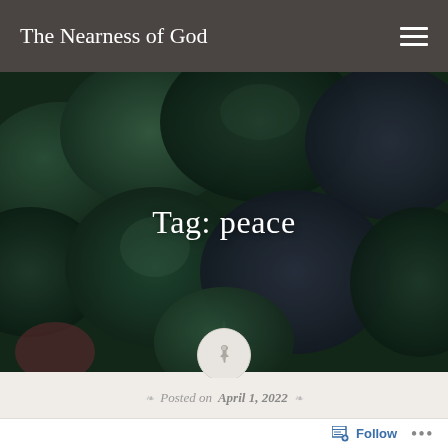The Nearness of God
[Figure (photo): Close-up photo of dark green succulent plants with rounded fleshy leaves, dark moody tones]
Tag: peace
[Figure (other): Circular pin/thumbtack icon on light beige background]
Posted on April 1, 2022
Follow ...